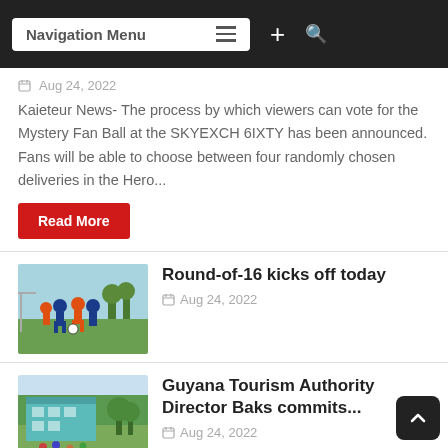Navigation Menu
Aug 24, 2022
Kaieteur News- The process by which viewers can vote for the Mystery Fan Ball at the SKYEXCH 6IXTY has been announced. Fans will be able to choose between four randomly chosen deliveries in the Hero...
Read More
[Figure (photo): Players in blue and orange jerseys playing soccer on a field]
Round-of-16 kicks off today
Aug 24, 2022
[Figure (photo): Teal/green building with people gathered outside]
Guyana Tourism Authority Director Baks commits...
Aug 24, 2022